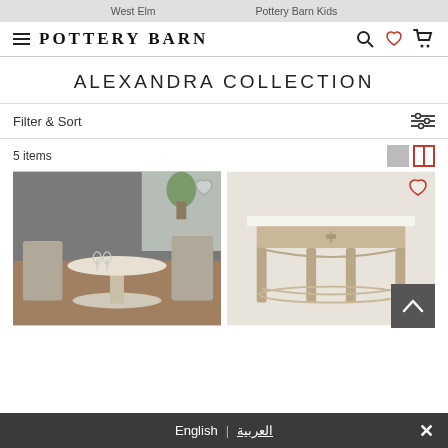West Elm    Pottery Barn Kids
[Figure (logo): Pottery Barn logo with hamburger menu, search, heart, and cart icons]
ALEXANDRA COLLECTION
Filter & Sort
5 items
[Figure (photo): Round marble-top dining table with tufted chairs in a grey styled room]
[Figure (photo): Demilune console table with drawer and lower shelf in driftwood finish]
English | العربية